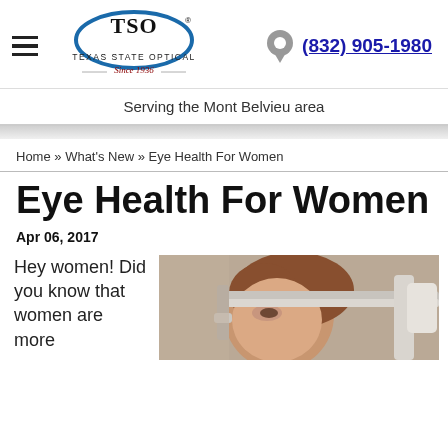[Figure (logo): Texas State Optical (TSO) logo with oval shape and text 'Texas State Optical Since 1936']
(832) 905-1980
Serving the Mont Belvieu area
Home » What's New » Eye Health For Women
Eye Health For Women
Apr 06, 2017
Hey women! Did you know that women are more
[Figure (photo): A woman having her eyes examined at an optometry clinic using slit-lamp equipment]